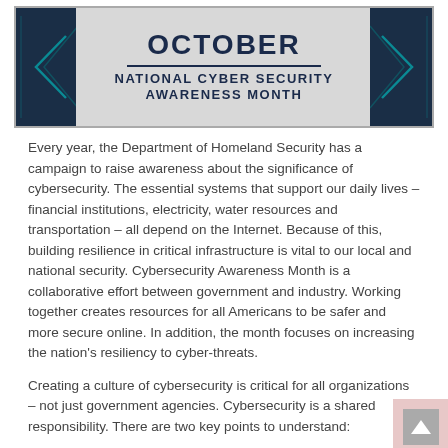[Figure (infographic): October National Cyber Security Awareness Month banner with dark navy background corners and light grey center panel showing bold OCTOBER text with divider line and NATIONAL CYBER SECURITY AWARENESS MONTH subtitle]
Every year, the Department of Homeland Security has a campaign to raise awareness about the significance of cybersecurity. The essential systems that support our daily lives – financial institutions, electricity, water resources and transportation – all depend on the Internet. Because of this, building resilience in critical infrastructure is vital to our local and national security. Cybersecurity Awareness Month is a collaborative effort between government and industry. Working together creates resources for all Americans to be safer and more secure online. In addition, the month focuses on increasing the nation's resiliency to cyber-threats.
Creating a culture of cybersecurity is critical for all organizations – not just government agencies. Cybersecurity is a shared responsibility. There are two key points to understand: